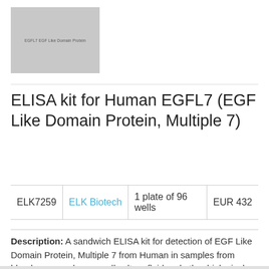[Figure (photo): Product image placeholder showing text: EGFL7 EGF Like Domain Protein on grey background]
ELISA kit for Human EGFL7 (EGF Like Domain Protein, Multiple 7)
|  |  |  |  |
| --- | --- | --- | --- |
| ELK7259 | ELK Biotech | 1 plate of 96 wells | EUR 432 |
Description: A sandwich ELISA kit for detection of EGF Like Domain Protein, Multiple 7 from Human in samples from blood, serum, plasma, cell culture fluid and other biological fluids.